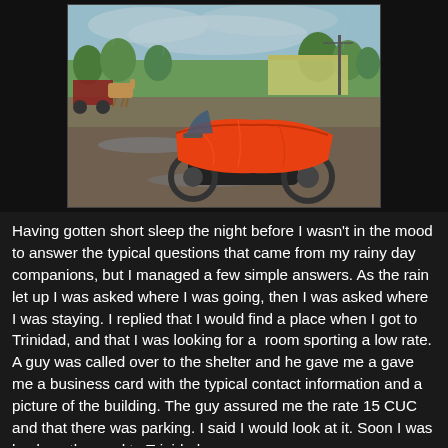[Figure (photo): A motorcycle covered with a bright orange rain tarp/cover parked on a wet, muddy road. In the background there is a horse-drawn cart, buildings, trees, and utility poles under a grey rainy sky.]
Having gotten short sleep the night before I wasn't in the mood to answer the typical questions that came from my rainy day companions, but I managed a few simple answers. As the rain let up I was asked where I was going, then I was asked where I was staying. I replied that I would find a place when I got to Trinidad, and that I was looking for a  room sporting a low rate. A guy was called over to the shelter and he gave me a gave me a business card with the typical contact information and a picture of the building. The guy assured me the rate 15 CUC and that there was parking. I said I would look at it. Soon I was back on the road to Trinidad.